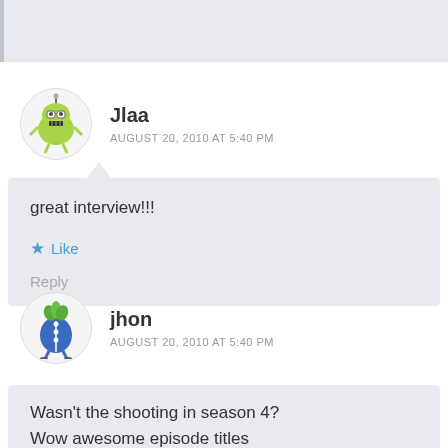[Figure (other): Top portion of a previous comment block, cropped, gray background]
Jlaa
AUGUST 20, 2010 AT 5:40 PM
great interview!!!
Like
Reply
jhon
AUGUST 20, 2010 AT 5:40 PM
Wasn't the shooting in season 4?
Wow awesome episode titles